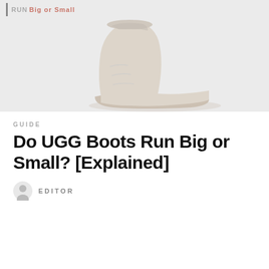[Figure (photo): Hero image showing UGG boots on a light gray background, with a top bar reading 'Big or Small' in pink/red highlight text]
GUIDE
Do UGG Boots Run Big or Small? [Explained]
EDITOR